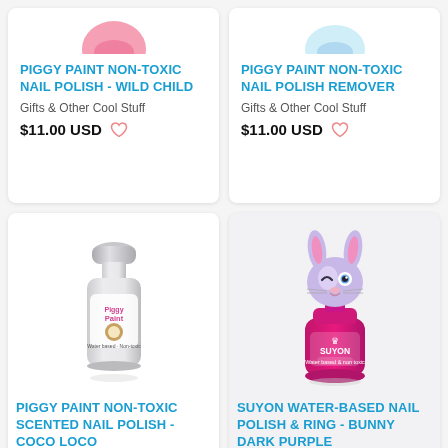[Figure (photo): Partially visible product image of Piggy Paint nail polish - Wild Child, cropped at top]
PIGGY PAINT NON-TOXIC NAIL POLISH - WILD CHILD
Gifts & Other Cool Stuff
$11.00 USD
[Figure (photo): Partially visible product image of Piggy Paint nail polish remover, cropped at top]
PIGGY PAINT NON-TOXIC NAIL POLISH REMOVER
Gifts & Other Cool Stuff
$11.00 USD
[Figure (photo): Piggy Paint non-toxic scented nail polish in clear/white bottle with silver cap and coconut label]
PIGGY PAINT NON-TOXIC SCENTED NAIL POLISH - COCO LOCO
[Figure (photo): Suyon water-based nail polish with bunny character cap on dark purple/magenta bottle]
SUYON WATER-BASED NAIL POLISH & RING - BUNNY DARK PURPLE